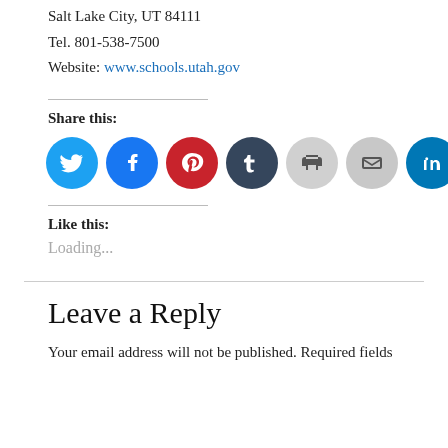Salt Lake City, UT 84111
Tel. 801-538-7500
Website: www.schools.utah.gov
Share this:
[Figure (other): Row of social media share icons: Twitter (light blue), Facebook (blue), Pinterest (red), Tumblr (dark navy), Print (light gray), Email (gray), LinkedIn (teal blue), Reddit (light blue)]
Like this:
Loading...
Leave a Reply
Your email address will not be published. Required fields